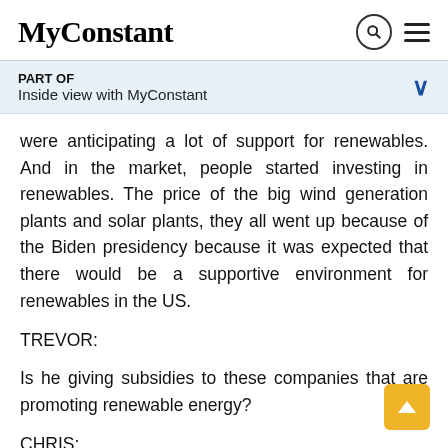MyConstant
PART OF
Inside view with MyConstant
were anticipating a lot of support for renewables. And in the market, people started investing in renewables. The price of the big wind generation plants and solar plants, they all went up because of the Biden presidency because it was expected that there would be a supportive environment for renewables in the US.
TREVOR:
Is he giving subsidies to these companies that are promoting renewable energy?
CHRIS: